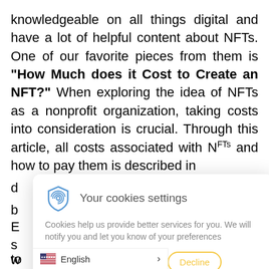knowledgeable on all things digital and have a lot of helpful content about NFTs. One of our favorite pieces from them is "How Much does it Cost to Create an NFT?" When exploring the idea of NFTs as a nonprofit organization, taking costs into consideration is crucial. Through this article, all costs associated with NFTs and how to pay them is described in d... o b...
[Figure (screenshot): Cookie consent popup with shield/fingerprint icon, title 'Your cookies settings', body text about cookies, and three buttons: Accept (yellow filled), Settings (yellow outlined), Decline (yellow outlined). Below the popup is a language selector bar showing English with US flag and a > arrow.]
E... s, s... o w... d to... or more pieces in each